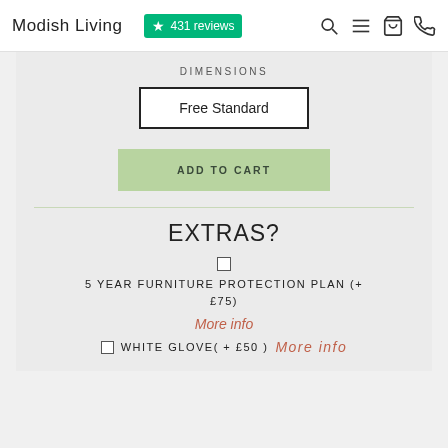Modish Living  ★ 431 reviews
DIMENSIONS
Free Standard
ADD TO CART
EXTRAS?
5 YEAR FURNITURE PROTECTION PLAN (+ £75)
More info
WHITE GLOVE( + £50 )  More info